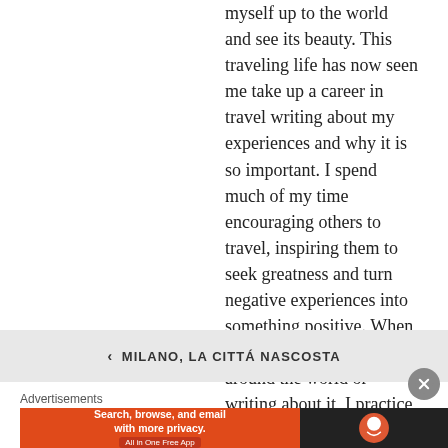myself up to the world and see its beauty. This traveling life has now seen me take up a career in travel writing about my experiences and why it is so important. I spend much of my time encouraging others to travel, inspiring them to seek greatness and turn negative experiences into something positive. When I am not busy traveling around the world or writing about it, I practice Tai-Chi and meditation, treat my body with the utmost respect and loves a cup of English tea. What else do you want to know? :) Happy Traveling! www.marieblogging.com
< MILANO, LA CITTÁ NASCOSTA
Advertisements
[Figure (other): DuckDuckGo advertisement banner: orange left panel with text 'Search, browse, and email with more privacy. All in One Free App' and dark right panel with DuckDuckGo logo]